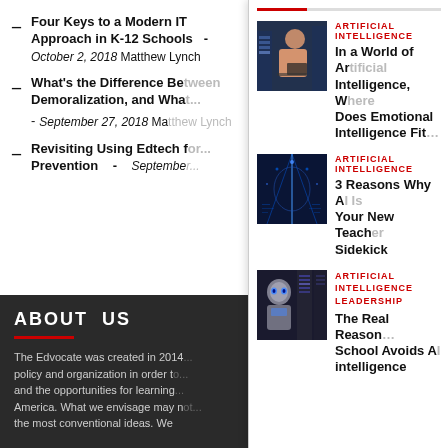Four Keys to a Modern IT Approach in K-12 Schools - October 2, 2018 Matthew Lynch
What's the Difference Be... Demoralization, and Wha... - September 27, 2018 Ma...
Revisiting Using Edtech f... Prevention - Septembe...
ABOUT US
The Edvocate was created in 2014... policy and organization in order t... and the opportunities for learning... America. What we envisage may n... the most conventional ideas. We
[Figure (photo): Person using a laptop in a data center]
ARTIFICIAL INTELLIGENCE
In a World of Ar... Intelligence, W... Does Emotional... Intelligence Fit...
[Figure (photo): Blue digital network/matrix background]
ARTIFICIAL INTELLIGENCE
3 Reasons Why A... Your New Teach... Sidekick
[Figure (photo): Robot or AI humanoid figure with server racks]
ARTIFICIAL INTELLIGENCE LEADERSHIP
The Real Reason... School Avoids A... intelligence